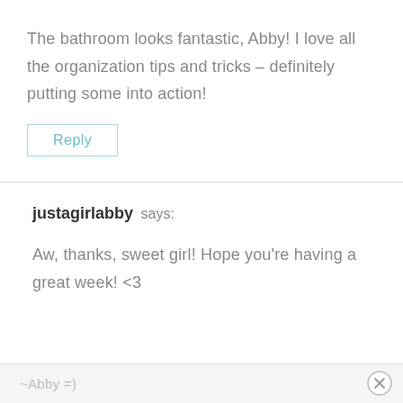The bathroom looks fantastic, Abby! I love all the organization tips and tricks – definitely putting some into action!
Reply
justagirlabby says:
Aw, thanks, sweet girl! Hope you're having a great week! <3
~Abby =)